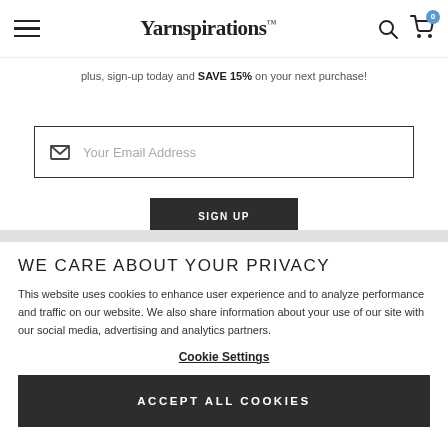Yarnspirations
plus, sign-up today and SAVE 15% on your next purchase!
Your Email Address
SIGN UP
WE CARE ABOUT YOUR PRIVACY
This website uses cookies to enhance user experience and to analyze performance and traffic on our website. We also share information about your use of our site with our social media, advertising and analytics partners.
Cookie Settings
ACCEPT ALL COOKIES